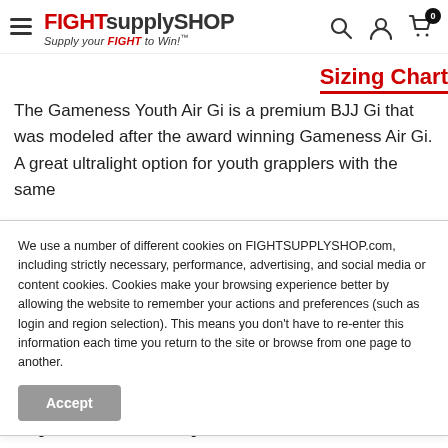FIGHTsupplySHOP — Supply your FIGHT to Win!™
Sizing Chart
The Gameness Youth Air Gi is a premium BJJ Gi that was modeled after the award winning Gameness Air Gi. A great ultralight option for youth grapplers with the same quality materials and stitching as the adult Gi, this...
We use a number of different cookies on FIGHTSUPPLYSHOP.com, including strictly necessary, performance, advertising, and social media or content cookies. Cookies make your browsing experience better by allowing the website to remember your actions and preferences (such as login and region selection). This means you don't have to re-enter this information each time you return to the site or browse from one page to another.
Payment & Security